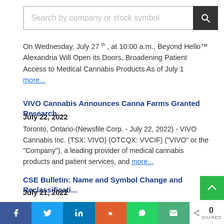[Figure (other): Search bar with placeholder text 'Search by company or stock symbol' and a dark search button with magnifying glass icon]
On Wednesday, July 27 th , at 10:00 a.m., Beyond Hello™ Alexandria Will Open its Doors, Broadening Patient Access to Medical Cannabis Products As of July 1 more...
VIVO Cannabis Announces Canna Farms Granted Research ...
July 22, 2022
Toronto, Ontario-(Newsfile Corp. - July 22, 2022) - VIVO Cannabis Inc. (TSX: VIVO) (OTCQX: VVCIF) ("VIVO" or the "Company"), a leading provider of medical cannabis products and patient services, and more...
CSE Bulletin: Name and Symbol Change and Reclassificati...
July 21, 2022
Toronto, Ontario-(Newsfile Corp. - le 21 juillet/July 2022) -
[Figure (other): Social share bar with Facebook, Twitter, LinkedIn, Reddit, WhatsApp, Email buttons and share count showing 0 SHARES]